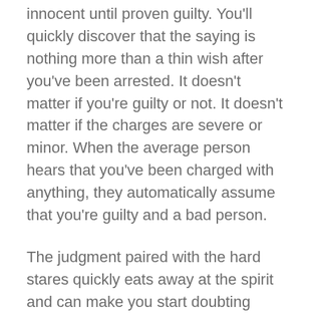innocent until proven guilty. You'll quickly discover that the saying is nothing more than a thin wish after you've been arrested. It doesn't matter if you're guilty or not. It doesn't matter if the charges are severe or minor. When the average person hears that you've been charged with anything, they automatically assume that you're guilty and a bad person.
The judgment paired with the hard stares quickly eats away at the spirit and can make you start doubting yourself.
You can rest assured that when you contact Nashville Bail Bonds, you'll get a reprieve. We won't judge you at all. The only thing we're concerned about is how